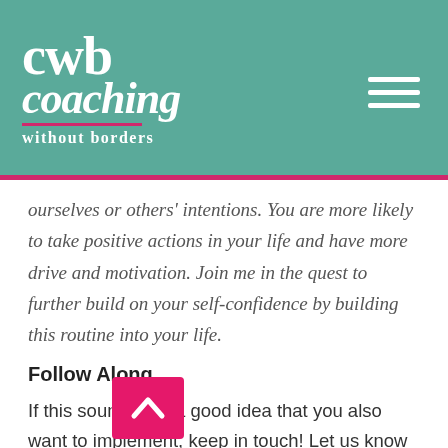cwb coaching without borders
ourselves or others' intentions. You are more likely to take positive actions in your life and have more drive and motivation. Join me in the quest to further build on your self-confidence by building this routine into your life.
Follow Along
If this sounds like a good idea that you also want to implement, keep in touch! Let us know how it is going. Get support